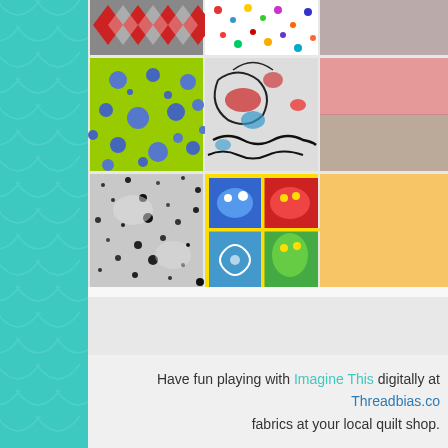[Figure (illustration): Teal/mint decorative sidebar with fish-scale/scallop repeating pattern]
[Figure (photo): Grid of six fabric swatch thumbnails showing various patterns: red diamond harlequin, colorful confetti dots, bright green fabric with blue polka dots, abstract colorful sketchy floral/bird pattern, black and white/grey speckled texture, and colorful illustrated animal panel print. Additional partial swatches visible at right edge.]
Have fun playing with Imagine This digitally at Threadbias.co... fabrics at your local quilt shop.